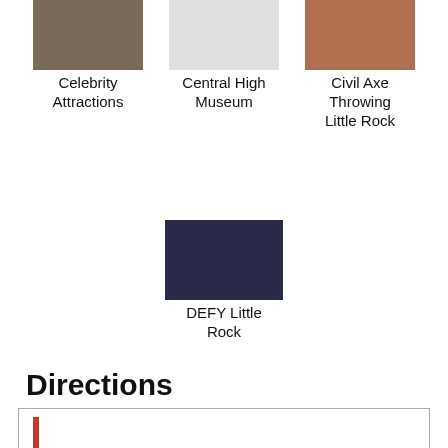[Figure (photo): Thumbnail photo for Celebrity Attractions]
Celebrity Attractions
[Figure (photo): Thumbnail photo for Central High Museum]
Central High Museum
[Figure (photo): Thumbnail photo for Civil Axe Throwing Little Rock]
Civil Axe Throwing Little Rock
[Figure (photo): Thumbnail photo for DEFY Little Rock]
DEFY Little Rock
Directions